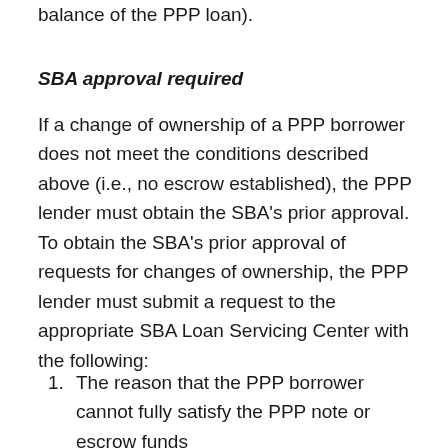balance of the PPP loan).
SBA approval required
If a change of ownership of a PPP borrower does not meet the conditions described above (i.e., no escrow established), the PPP lender must obtain the SBA’s prior approval. To obtain the SBA’s prior approval of requests for changes of ownership, the PPP lender must submit a request to the appropriate SBA Loan Servicing Center with the following:
1. The reason that the PPP borrower cannot fully satisfy the PPP note or escrow funds